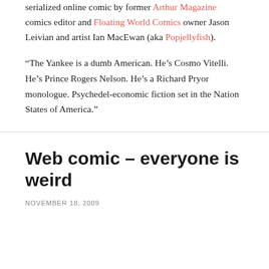serialized online comic by former Arthur Magazine comics editor and Floating World Comics owner Jason Leivian and artist Ian MacEwan (aka Popjellyfish).
“The Yankee is a dumb American. He’s Cosmo Vitelli. He’s Prince Rogers Nelson. He’s a Richard Pryor monologue. Psychedel-economic fiction set in the Nation States of America.”
Web comic – everyone is weird
NOVEMBER 18, 2009